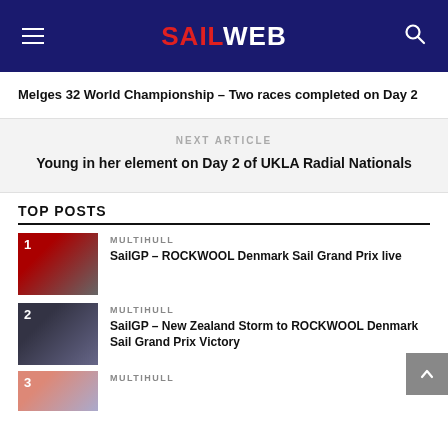SAILWEB
Melges 32 World Championship – Two races completed on Day 2
NEXT ARTICLE
Young in her element on Day 2 of UKLA Radial Nationals
TOP POSTS
MULTIHULL
SailGP – ROCKWOOL Denmark Sail Grand Prix live
MULTIHULL
SailGP – New Zealand Storm to ROCKWOOL Denmark Sail Grand Prix Victory
MULTIHULL